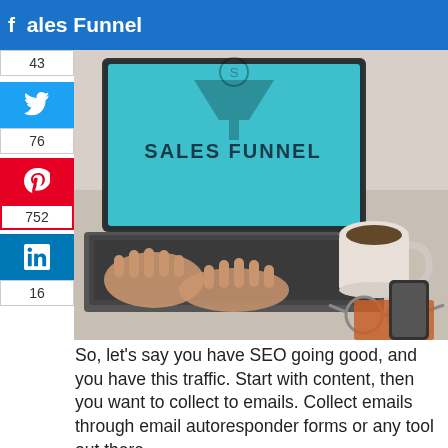Marketing - Step 4: Build Your Sales Funnel
[Figure (photo): Photo of a laptop with 'SALES FUNNEL' displayed on screen, with a coffee cup, glasses, notebook, and smartphone on a desk. Person's hands typing on keyboard.]
So, let's say you have SEO going good, and you have this traffic. Start with content, then you want to collect to emails. Collect emails through email autoresponder forms or any tool out there.